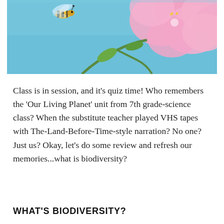[Figure (photo): A bee flying near pink cherry blossoms against a blue sky background. The image is cropped showing the upper portion of the photo with the bee on the left side and pink flowers on the right.]
Class is in session, and it’s quiz time! Who remembers the ‘Our Living Planet’ unit from 7th grade-science class? When the substitute teacher played VHS tapes with The-Land-Before-Time-style narration? No one? Just us? Okay, let’s do some review and refresh our memories...what is biodiversity?
WHAT’S BIODIVERSITY?